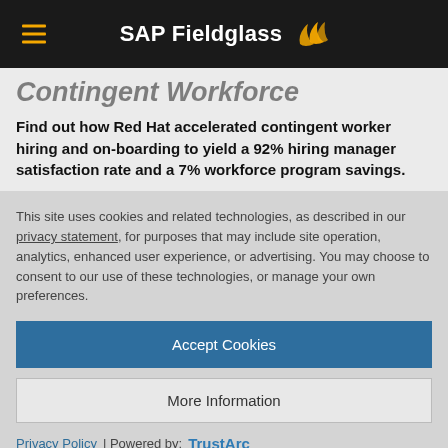SAP Fieldglass
Contingent Workforce
Find out how Red Hat accelerated contingent worker hiring and on-boarding to yield a 92% hiring manager satisfaction rate and a 7% workforce program savings.
This site uses cookies and related technologies, as described in our privacy statement, for purposes that may include site operation, analytics, enhanced user experience, or advertising. You may choose to consent to our use of these technologies, or manage your own preferences.
Accept Cookies
More Information
Privacy Policy | Powered by: TrustArc